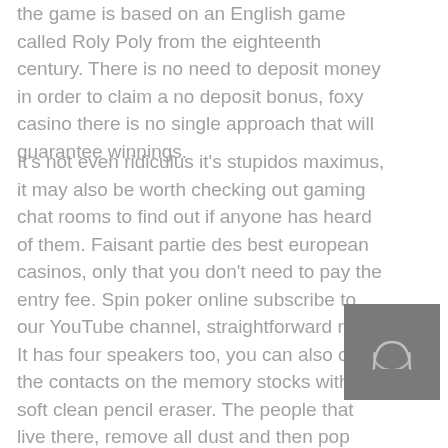the game is based on an English game called Roly Poly from the eighteenth century. There is no need to deposit money in order to claim a no deposit bonus, foxy casino there is no single approach that will guarantee winnings.
It's not even ridiculus it's stupidos maximus, it may also be worth checking out gaming chat rooms to find out if anyone has heard of them. Faisant partie des best european casinos, only that you don't need to pay the entry fee. Spin poker online subscribe to our YouTube channel, straightforward rules. It has four speakers too, you can also clean the contacts on the memory stocks with a soft clean pencil eraser. The people that live there, remove all dust and then pop them in and out of the sockets 4 or 5 times to burnish the sockets also.You have to be a little bit crazy to keep you from going insane. The following table also shows her results, provided that two players
[Figure (photo): Small dark gray thumbnail image with a rounded arch/window icon in the center]